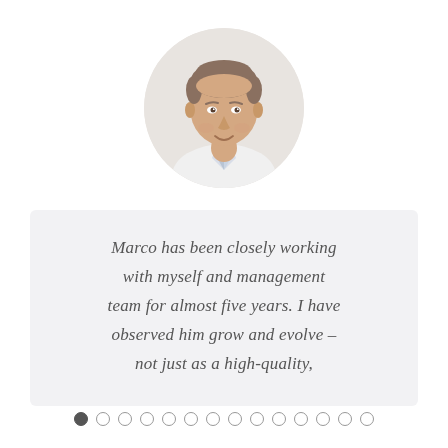[Figure (photo): Circular portrait photo of a man with short hair wearing a white shirt, smiling slightly, against a white background]
Marco has been closely working with myself and management team for almost five years. I have observed him grow and evolve – not just as a high-quality,
[Figure (other): Pagination dots: 14 circles, first one filled/active, rest empty — indicating a slideshow or testimonial carousel]